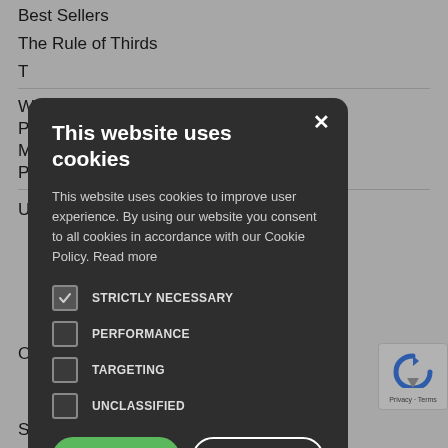Best Sellers
The Rule of Thirds
T
W
P
M
P
U
O
Search
[Figure (screenshot): Cookie consent modal with dark background. Title: 'This website uses cookies'. Body text: 'This website uses cookies to improve user experience. By using our website you consent to all cookies in accordance with our Cookie Policy. Read more'. Four checkboxes: STRICTLY NECESSARY (checked), PERFORMANCE (unchecked), TARGETING (unchecked), UNCLASSIFIED (unchecked). Two buttons: ACCEPT ALL (green) and DECLINE ALL (outline). Show Details link with gear icon. Footer: POWERED BY COOKIESCRIPT.]